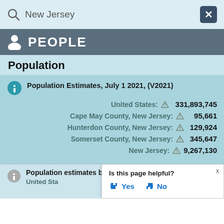New Jersey
PEOPLE
Population
| Location | Value |
| --- | --- |
| United States: | 331,893,745 |
| Cape May County, New Jersey: | 95,661 |
| Hunterdon County, New Jersey: | 129,924 |
| Somerset County, New Jersey: | 345,647 |
| New Jersey: | 9,267,130 |
Population Estimates, July 1 2021, (V2021)
Population estimates base, April 1, 2020, (V2021)
United States:
Is this page helpful? Yes No